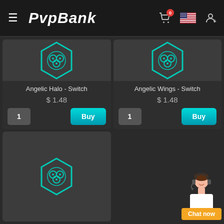PVPBank
[Figure (screenshot): Product card: Angelic Halo - Switch with hexagon gear icon, price $1.48, quantity 1, Buy button]
Angelic Halo - Switch
$ 1.48
[Figure (screenshot): Product card: Angelic Wings - Switch with hexagon gear icon, price $1.48, quantity 1, Buy button]
Angelic Wings - Switch
$ 1.48
[Figure (screenshot): Third product card (bottom-left) with hexagon gear icon, partially visible]
[Figure (photo): Chat now widget with customer service agent and orange Chat now button]